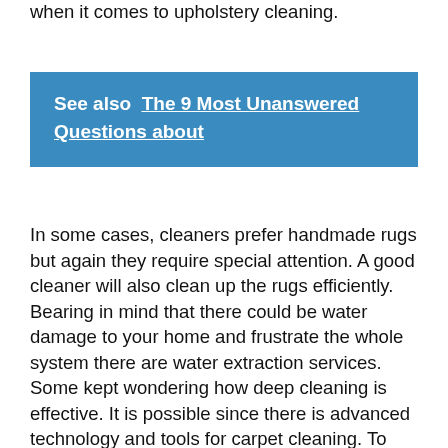when it comes to upholstery cleaning.
See also  The 9 Most Unanswered Questions about
In some cases, cleaners prefer handmade rugs but again they require special attention. A good cleaner will also clean up the rugs efficiently. Bearing in mind that there could be water damage to your home and frustrate the whole system there are water extraction services. Some kept wondering how deep cleaning is effective. It is possible since there is advanced technology and tools for carpet cleaning. To know more about the cleaner there is a sense in which past customers will comment about the same services. You will encounter honest customers on the